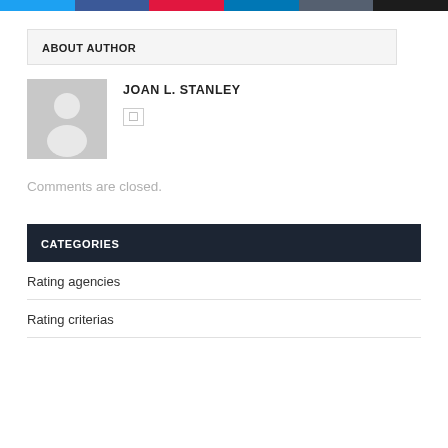[Social share buttons bar]
ABOUT AUTHOR
[Figure (illustration): Default avatar silhouette of a person on gray background]
JOAN L. STANLEY
Comments are closed.
CATEGORIES
Rating agencies
Rating criterias